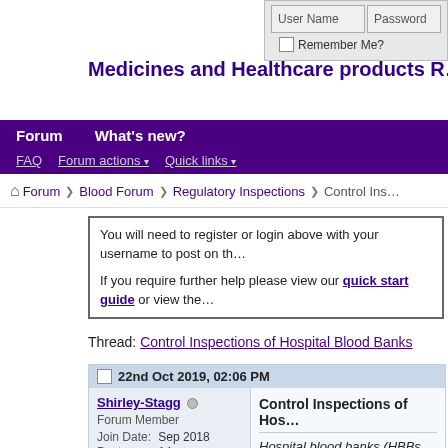User Name | Password | Remember Me?
Medicines and Healthcare products R...
Forum | What's new?
FAQ | Forum actions | Quick links
Forum > Blood Forum > Regulatory Inspections > Control Ins...
You will need to register or login above with your username to post on th...
If you require further help please view our quick start guide or view the...
Thread: Control Inspections of Hospital Blood Banks
22nd Oct 2019, 02:06 PM
Shirley-Stagg
Forum Member
Join Date: Sep 2018
Posts: 14
Control Inspections of Hos...
Hospital blood banks (HBBs... report (BCR) to MHRA ever... the main tool that is used to... and to trigger 'for-cause' ins...